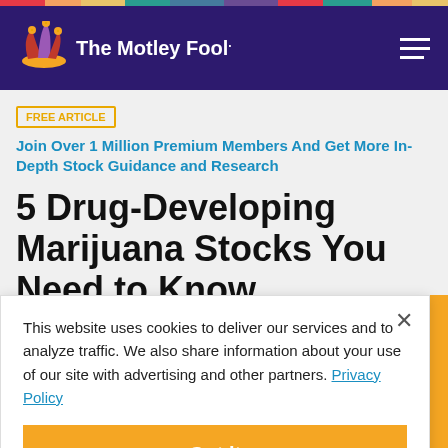The Motley Fool
FREE ARTICLE  Join Over 1 Million Premium Members And Get More In-Depth Stock Guidance and Research
5 Drug-Developing Marijuana Stocks You Need to Know
This website uses cookies to deliver our services and to analyze traffic. We also share information about your use of our site with advertising and other partners. Privacy Policy
Got it
Cookie Settings